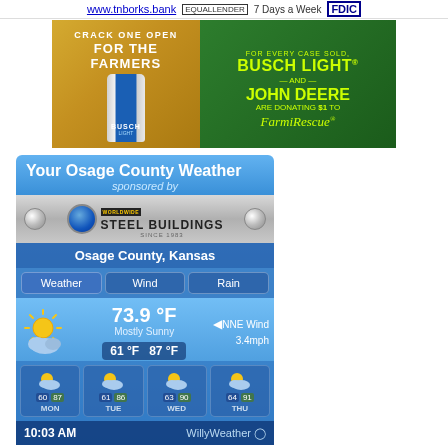www.tnborks.bank  7 Days a Week  FDIC
[Figure (photo): Busch Light beer advertisement: 'CRACK ONE OPEN FOR THE FARMERS' on left with Busch Light can image; right side green background with 'FOR EVERY CASE SOLD, BUSCH LIGHT AND JOHN DEERE ARE DONATING $1 TO Farm Rescue']
[Figure (infographic): Your Osage County Weather widget sponsored by Worldwide Steel Buildings. Shows current weather for Osage County, Kansas: 73.9°F, Mostly Sunny, NNE Wind 3.4mph, Low 61°F High 87°F. 4-day forecast: MON 60/87, TUE 61/86, WED 63/90, THU 64/91. Time: 10:03 AM. WillyWeather branding.]